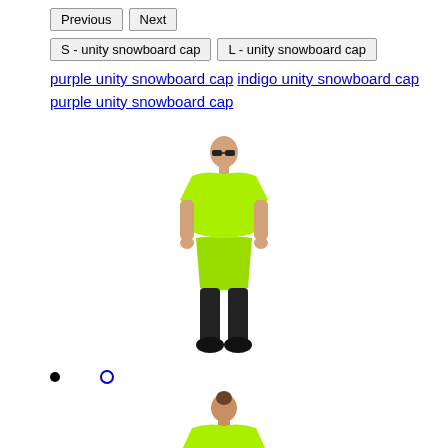Previous
Next
S - unity snowboard cap
L - unity snowboard cap
purple unity snowboard cap indigo unity snowboard cap purple unity snowboard cap
[Figure (photo): Person wearing lime green oversized t-shirt and shorts with black tights and shoes, front view]
[Figure (photo): Person wearing lime green oversized t-shirt, back view, hair up]